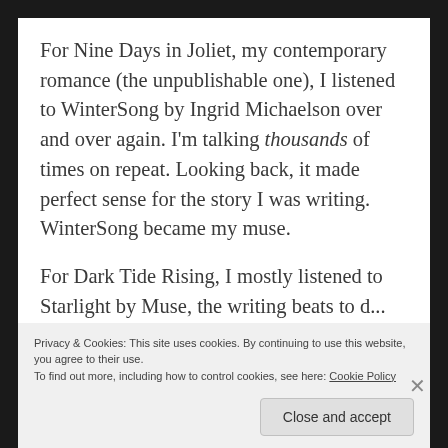For Nine Days in Joliet, my contemporary romance (the unpublishable one), I listened to WinterSong by Ingrid Michaelson over and over again. I'm talking thousands of times on repeat. Looking back, it made perfect sense for the story I was writing. WinterSong became my muse.
For Dark Tide Rising, I mostly listened to Starlight by... [clipped]
Privacy & Cookies: This site uses cookies. By continuing to use this website, you agree to their use.
To find out more, including how to control cookies, see here: Cookie Policy
Close and accept